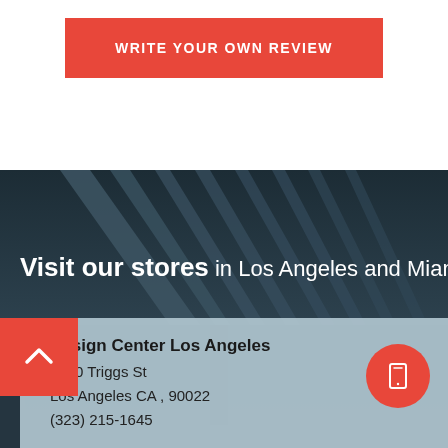WRITE YOUR OWN REVIEW
[Figure (photo): Architectural photo of concrete ceiling beams/rafters in dark industrial setting used as banner background]
Visit our stores in Los Angeles and Miami
Design Center Los Angeles
4900 Triggs St
Los Angeles CA , 90022
(323) 215-1645